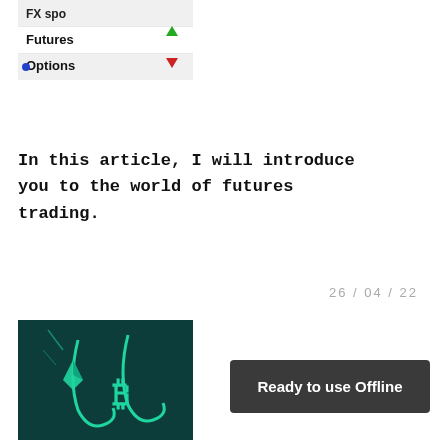[Figure (photo): Finance trading screen showing FX spot, Futures with green up arrow, and Options with red down arrow]
In this article, I will introduce you to the world of futures trading.
26 / 04 / 22
[Figure (illustration): Dark teal background with glowing green Ethereum diamond logo and Bitcoin symbol on a fishing hook, suggesting crypto phishing/scam concept]
Ready to use Offline